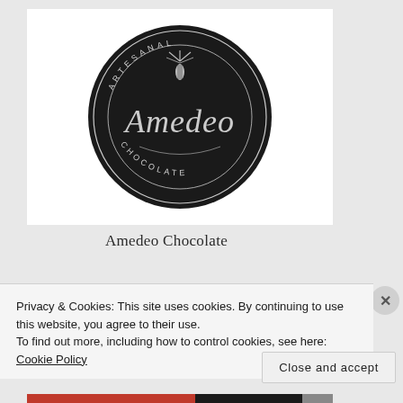[Figure (logo): Amedeo Chocolate artisanal logo — circular black badge with script 'Amedeo' text and 'ARTESANAL CHOCOLATE' text around the border, with a cacao pod illustration at top]
Amedeo Chocolate
Privacy & Cookies: This site uses cookies. By continuing to use this website, you agree to their use.
To find out more, including how to control cookies, see here: Cookie Policy
Close and accept